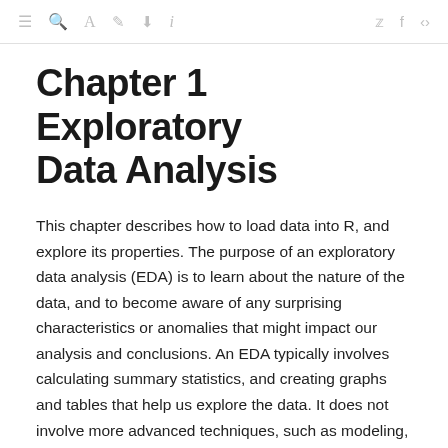≡ ⌕ A ✎ ⬇ i  ✦ f ⋮
Chapter 1   Exploratory Data Analysis
This chapter describes how to load data into R, and explore its properties. The purpose of an exploratory data analysis (EDA) is to learn about the nature of the data, and to become aware of any surprising characteristics or anomalies that might impact our analysis and conclusions. An EDA typically involves calculating summary statistics, and creating graphs and tables that help us explore the data. It does not involve more advanced techniques, such as modeling, but rather helps